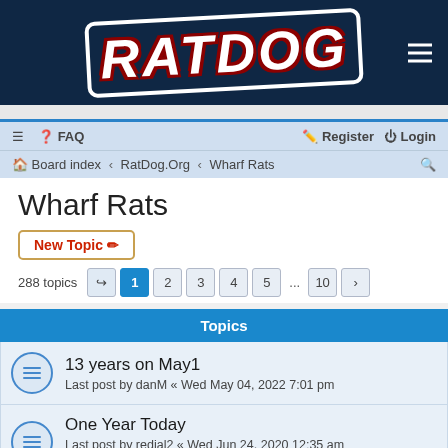[Figure (logo): RatDog website logo with stylized text on dark navy background]
≡  FAQ    Register  Login
Board index  ‹  RatDog.Org  ‹  Wharf Rats
Wharf Rats
New Topic ✎
288 topics  1 2 3 4 5 ... 10 ›
Topics
13 years on May1
Last post by danM « Wed May 04, 2022 7:01 pm
One Year Today
Last post by redial2 « Wed Jun 24, 2020 12:35 am
Replies: 18